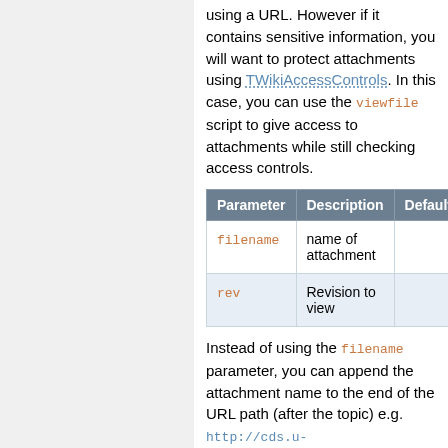using a URL. However if it contains sensitive information, you will want to protect attachments using TWikiAccessControls. In this case, you can use the viewfile script to give access to attachments while still checking access controls.
| Parameter | Description | Default |
| --- | --- | --- |
| filename | name of attachment |  |
| rev | Revision to view |  |
Instead of using the filename parameter, you can append the attachment name to the end of the URL path (after the topic) e.g. http://cds.u-...